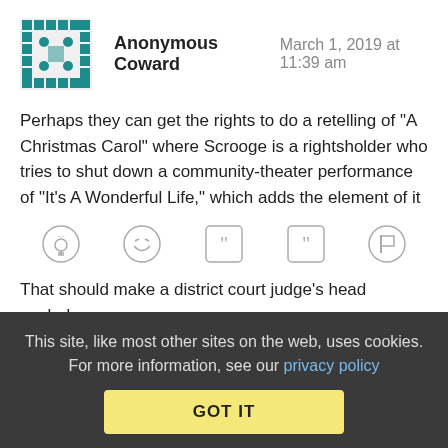Anonymous Coward   March 1, 2019 at 11:39 am
Perhaps they can get the rights to do a retelling of "A Christmas Carol" where Scrooge is a rightsholder who tries to shut down a community-theater performance of "It's A Wonderful Life," which adds the element of it being the protagonist's birthday, with "Happy Birthday" sung at the end.

That should make a district court judge's head explode.
Reply | View in chronology
[Figure (infographic): Row of icon buttons: lightbulb (insight), laughing face, open-quote, close-quote, and flag icons]
This site, like most other sites on the web, uses cookies. For more information, see our privacy policy
GOT IT